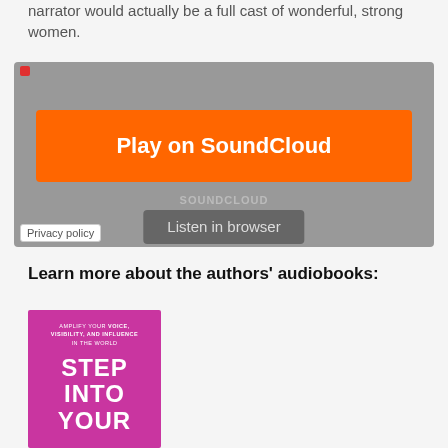narrator would actually be a full cast of wonderful, strong women.
[Figure (screenshot): SoundCloud embedded audio player widget with gray background, orange 'Play on SoundCloud' button, 'Listen in browser' button, waveform graphic, SOUNDCLOUD branding, and Privacy policy link.]
Learn more about the authors' audiobooks:
[Figure (photo): Book cover with magenta/pink background showing text: 'AMPLIFY YOUR VOICE, VISIBILITY, AND INFLUENCE IN THE WORLD' and large title 'STEP INTO YOUR']